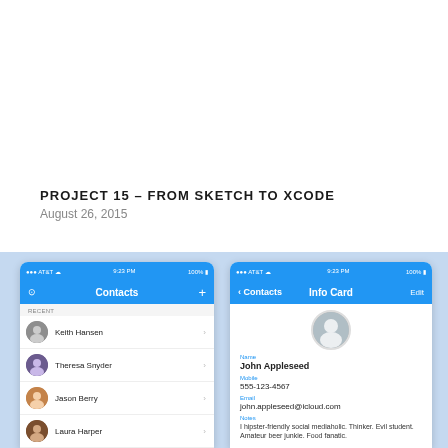PROJECT 15 – FROM SKETCH TO XCODE
August 26, 2015
[Figure (screenshot): Two iOS app screenshots side by side on a blue background. Left screenshot shows a Contacts list with four contacts: Keith Hansen, Theresa Snyder, Jason Berry, Laura Harper, John Appleseed under RECENT section and FRIENDS section partially visible. Right screenshot shows an Info Card for John Appleseed with name, mobile (555-123-4567), email (john.appleseed@icloud.com), and notes fields.]